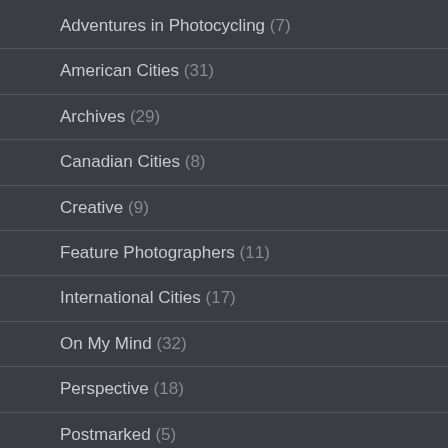Adventures in Photocycling (7)
American Cities (31)
Archives (29)
Canadian Cities (8)
Creative (9)
Feature Photographers (11)
International Cities (17)
On My Mind (32)
Perspective (18)
Postmarked (5)
Presentation (11)